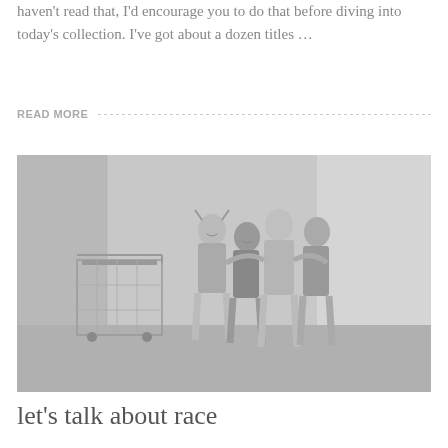haven't read that, I'd encourage you to do that before diving into today's collection. I've got about a dozen titles …
READ MORE
[Figure (photo): Black and white photograph of four children hugging and smiling in an alley, with a shopping cart visible on the left.]
let's talk about race